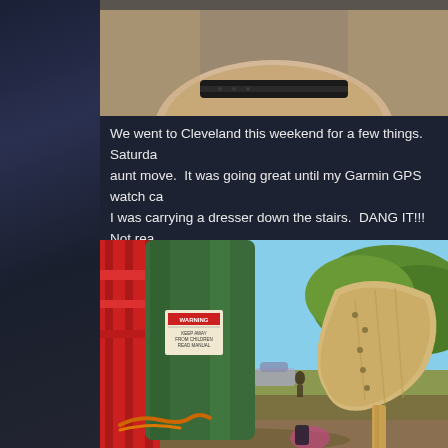[Figure (photo): Close-up photo of a hand/fingers holding what appears to be a Garmin GPS watch band, showing a dark watch strap against skin tones.]
We went to Cleveland this weekend for a few things.  Saturday we helped my aunt move.  It was going great until my Garmin GPS watch ca... I was carrying a dresser down the stairs.  DANG IT!!!  Not rea... knowledge because the body broke where the bolt goes throu... tight sealed so you can swim with it.
[Figure (photo): Outdoor photo showing playground or park equipment including a red metal structure on the left, a large green cylindrical tank or tube in the center with a warning label, trees in the background, a wooden sled-like object on the right, and orange chains/hooks on the ground.]